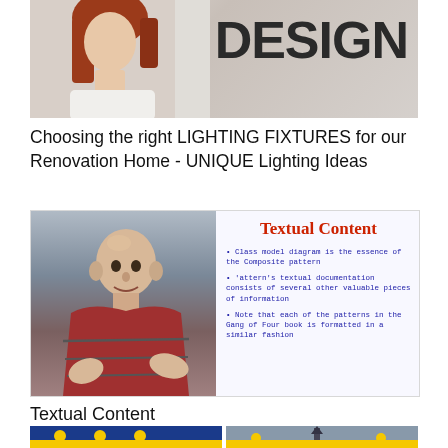[Figure (screenshot): Thumbnail image showing a woman with red hair and 'DESIGN' text in large bold letters on a light background]
Choosing the right LIGHTING FIXTURES for our Renovation Home - UNIQUE Lighting Ideas
[Figure (screenshot): Video thumbnail showing a man speaking in front of a slide titled 'Textual Content' with bullet points about class model diagram, pattern's textual documentation, and Gang of Four book]
Textual Content
[Figure (screenshot): Two thumbnail images at the bottom, one with blue sky and yellow figures, another with a landmark and yellow figures]